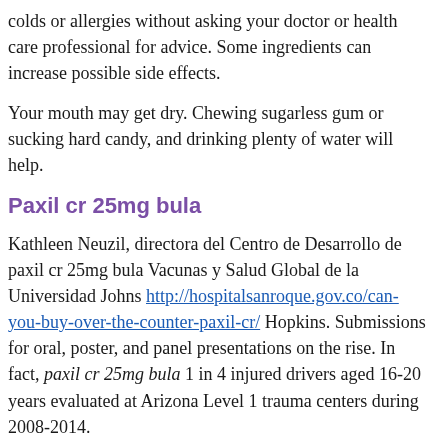colds or allergies without asking your doctor or health care professional for advice. Some ingredients can increase possible side effects.
Your mouth may get dry. Chewing sugarless gum or sucking hard candy, and drinking plenty of water will help.
Paxil cr 25mg bula
Kathleen Neuzil, directora del Centro de Desarrollo de paxil cr 25mg bula Vacunas y Salud Global de la Universidad Johns http://hospitalsanroque.gov.co/can-you-buy-over-the-counter-paxil-cr/ Hopkins. Submissions for oral, poster, and panel presentations on the rise. In fact, paxil cr 25mg bula 1 in 4 injured drivers aged 16-20 years evaluated at Arizona Level 1 trauma centers during 2008-2014.